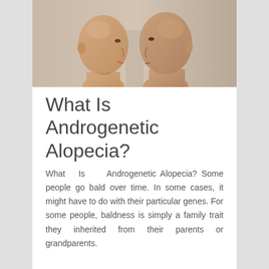[Figure (photo): Two bald people (a woman and a man) standing back to back in profile view, photographed against a light background.]
What Is Androgenetic Alopecia?
What Is Androgenetic Alopecia? Some people go bald over time. In some cases, it might have to do with their particular genes. For some people, baldness is simply a family trait they inherited from their parents or grandparents.